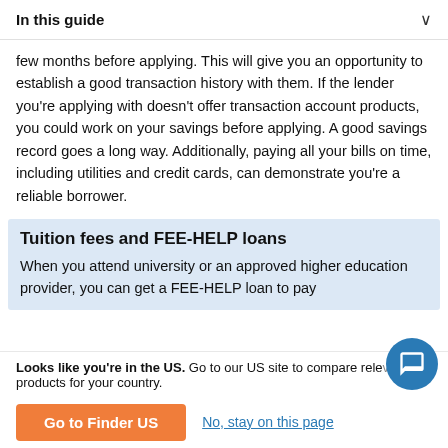In this guide
few months before applying. This will give you an opportunity to establish a good transaction history with them. If the lender you're applying with doesn't offer transaction account products, you could work on your savings before applying. A good savings record goes a long way. Additionally, paying all your bills on time, including utilities and credit cards, can demonstrate you're a reliable borrower.
Tuition fees and FEE-HELP loans
When you attend university or an approved higher education provider, you can get a FEE-HELP loan to pay
Looks like you're in the US. Go to our US site to compare relevant products for your country.
Go to Finder US
No, stay on this page